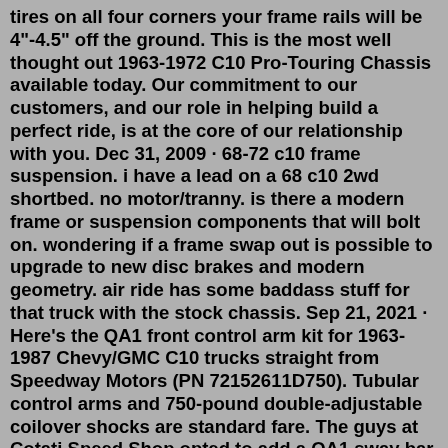tires on all four corners your frame rails will be 4"-4.5" off the ground. This is the most well thought out 1963-1972 C10 Pro-Touring Chassis available today. Our commitment to our customers, and our role in helping build a perfect ride, is at the core of our relationship with you. Dec 31, 2009 · 68-72 c10 frame suspension. i have a lead on a 68 c10 2wd shortbed. no motor/tranny. is there a modern frame or suspension components that will bolt on. wondering if a frame swap out is possible to upgrade to new disc brakes and modern geometry. air ride has some baddass stuff for that truck with the stock chassis. Sep 21, 2021 · Here's the QA1 front control arm kit for 1963-1987 Chevy/GMC C10 trucks straight from Speedway Motors (PN 72152611D750). Tubular control arms and 750-pound double-adjustable coilover shocks are standard fare. The guys at Cotati Speed Shop opted to add a QA1 sway bar kit (PN 72152896) to further complement the components. Introducing our BOLT ON Heavy Duty Spring Swap kit @ H for 67-72 Chevy C10b... O...